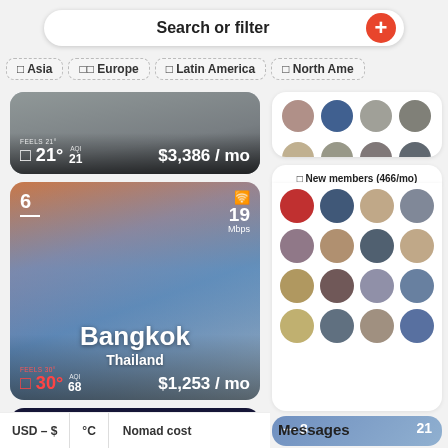Search or filter
Asia
Europe
Latin America
North Ame...
[Figure (photo): City street card: temperature 21°, AQI 21, $3,386/mo]
[Figure (photo): Bangkok, Thailand city card. Rank 6, WiFi 19 Mbps, temperature 30°, AQI 68, $1,253/mo]
[Figure (photo): Partial city card: rank 7, WiFi 34 Mbps]
[Figure (photo): New members panel showing profile avatars]
New members (466/mo)
[Figure (photo): Third right column partial card, rank 8, 21 Mbps]
Messages
USD – $
°C
Nomad cost